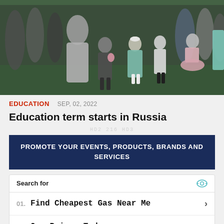[Figure (photo): Children in formal school attire walking outdoors on a green field, with adults in background, at a school beginning ceremony in Russia.]
EDUCATION   SEP, 02, 2022
Education term starts in Russia
PROMOTE YOUR EVENTS, PRODUCTS, BRANDS AND SERVICES
Search for
01.  Find Cheapest Gas Near Me
02.  Gas Prices Today
Yahoo! Search | Sponsored